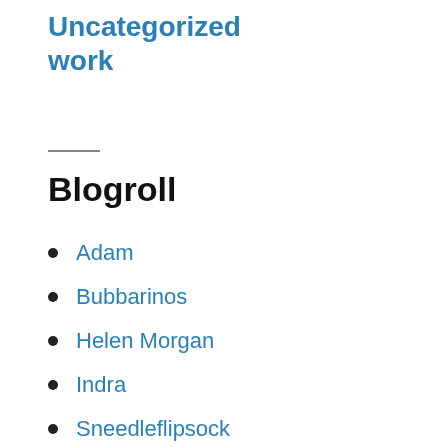Uncategorized work
Blogroll
Adam
Bubbarinos
Helen Morgan
Indra
Sneedleflipsock
The Grapevine